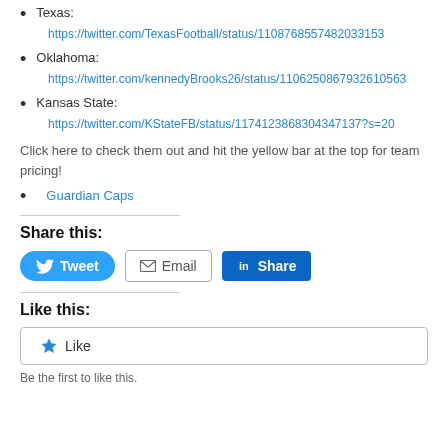Texas:
https://twitter.com/TexasFootball/status/1108768557482033153
Oklahoma:
https://twitter.com/kennedyBrooks26/status/1106250867932610563
Kansas State:
https://twitter.com/KStateFB/status/1174123868304347137?s=20
Click here to check them out and hit the yellow bar at the top for team pricing!
Guardian Caps
Share this:
[Figure (other): Social share buttons: Tweet, Email, Share (LinkedIn)]
Like this:
[Figure (other): Like button widget]
Be the first to like this.